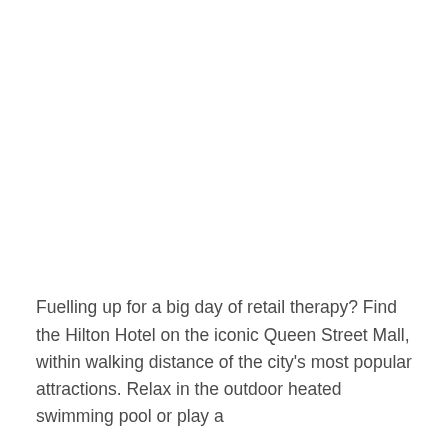Fuelling up for a big day of retail therapy? Find the Hilton Hotel on the iconic Queen Street Mall, within walking distance of the city's most popular attractions. Relax in the outdoor heated swimming pool or play a